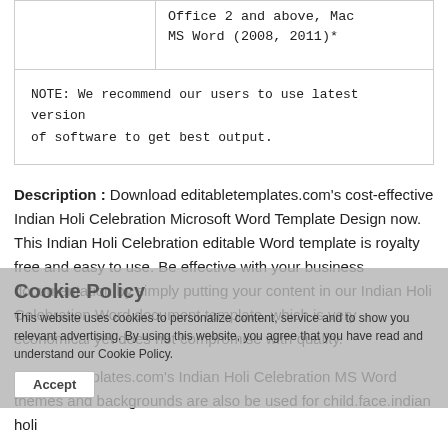|  | Office 2 and above, Mac MS Word (2008, 2011)* |
| NOTE: We recommend our users to use latest version of software to get best output. |  |
Description : Download editabletemplates.com's cost-effective Indian Holi Celebration Microsoft Word Template Design now. This Indian Holi Celebration editable Word template is royalty free and easy to use. Be effective with your business documentation by simply putting your content in our Indian Holi Celebration Word document template, which is very economical yet does not compromise with quality.
Cookie Policy — This website uses cookies to personalize content, service and to show you relevant advertising. By using this website, you agree that you have read and understand our Cookie Policy.
editabletemplates.com's Indian Holi Celebration MS Word themes and backgrounds are also be used for child.face.indian holi